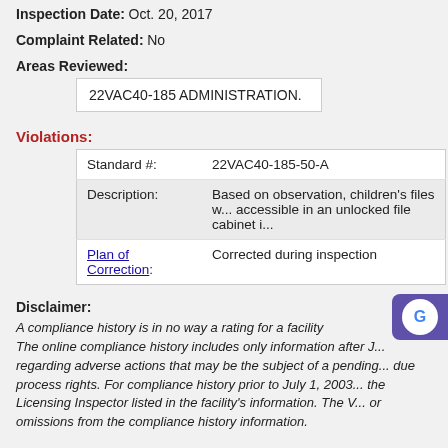Inspection Date: Oct. 20, 2017
Complaint Related: No
Areas Reviewed:
22VAC40-185 ADMINISTRATION.
Violations:
|  |  |
| --- | --- |
| Standard #: | 22VAC40-185-50-A |
| Description: | Based on observation, children's files w... accessible in an unlocked file cabinet i... |
| Plan of Correction: | Corrected during inspection |
Disclaimer:
A compliance history is in no way a rating for a facility...
The online compliance history includes only information after J... regarding adverse actions that may be the subject of a pending... due process rights. For compliance history prior to July 1, 2003... the Licensing Inspector listed in the facility's information. The V... or omissions from the compliance history information.